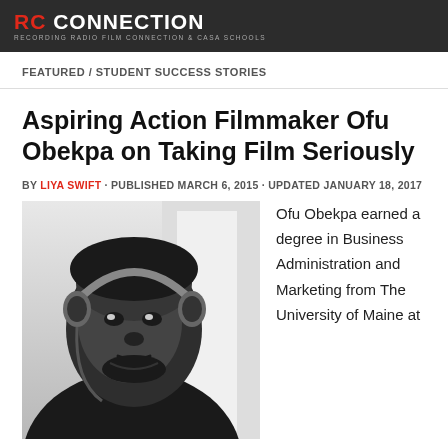RC CONNECTION — RECORDING RADIO FILM CONNECTION & CASA SCHOOLS
FEATURED / STUDENT SUCCESS STORIES
Aspiring Action Filmmaker Ofu Obekpa on Taking Film Seriously
BY LIYA SWIFT · PUBLISHED MARCH 6, 2015 · UPDATED JANUARY 18, 2017
[Figure (photo): Black and white portrait photo of Ofu Obekpa wearing headphones around his neck]
Ofu Obekpa earned a degree in Business Administration and Marketing from The University of Maine at